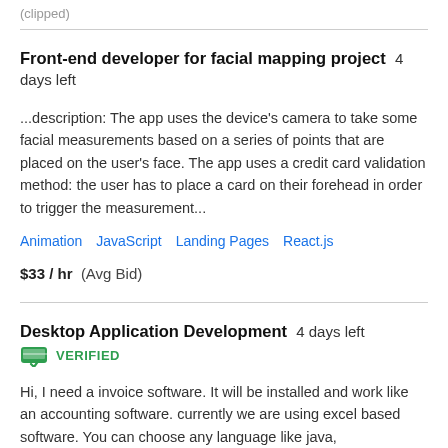(clipped top text)
Front-end developer for facial mapping project  4 days left
...description: The app uses the device's camera to take some facial measurements based on a series of points that are placed on the user's face. The app uses a credit card validation method: the user has to place a card on their forehead in order to trigger the measurement...
Animation   JavaScript   Landing Pages   React.js
$33 / hr  (Avg Bid)
Desktop Application Development  4 days left
VERIFIED
Hi, I need a invoice software. It will be installed and work like an accounting software. currently we are using excel based software. You can choose any language like java,